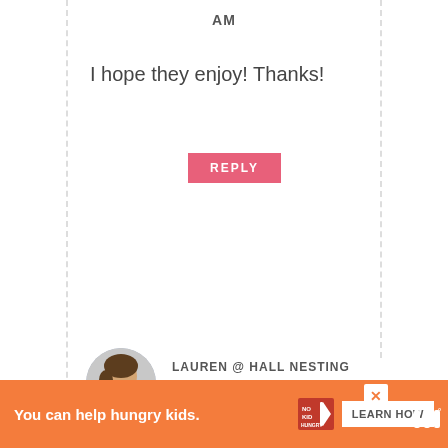AM
I hope they enjoy! Thanks!
REPLY
LAUREN @ HALL NESTING SAYS
APRIL 7, 2018 AT 11:14 AM
What a fun idea for a party!
REPLY
You can help hungry kids.
LEARN HOW